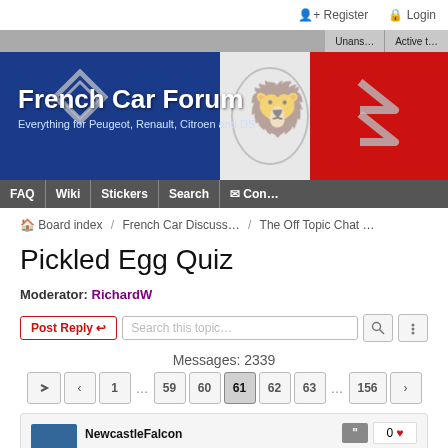Register  Login
[Figure (screenshot): French Car Forum banner with Renault, Peugeot, and Citroen logos over French flag colors. Title: French Car Forum. Subtitle: Everything for Peugeot, Renault, Citroen and DS]
FAQ  Wiki  Stickers  Search  Con...
Board index / French Car Discuss... / The Off Topic Chat ...
Pickled Egg Quiz
Moderator: RichardW
Post Reply   Search this topic...
Messages: 2339
1 ... 59 60 61 62 63 ... 156
NewcastleFalcon